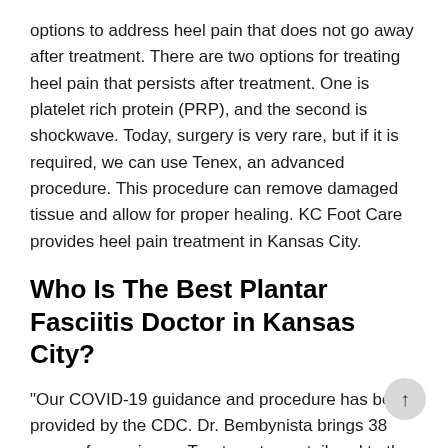options to address heel pain that does not go away after treatment. There are two options for treating heel pain that persists after treatment. One is platelet rich protein (PRP), and the second is shockwave. Today, surgery is very rare, but if it is required, we can use Tenex, an advanced procedure. This procedure can remove damaged tissue and allow for proper healing. KC Foot Care provides heel pain treatment in Kansas City.
Who Is The Best Plantar Fasciitis Doctor in Kansas City?
"Our COVID-19 guidance and procedure has been provided by the CDC. Dr. Bembynista brings 38 years of experience. Treatments are tailored to the individual patient and focus on the best solution for their problems. So that patients fully understand their options, we will discuss the diagnosis and